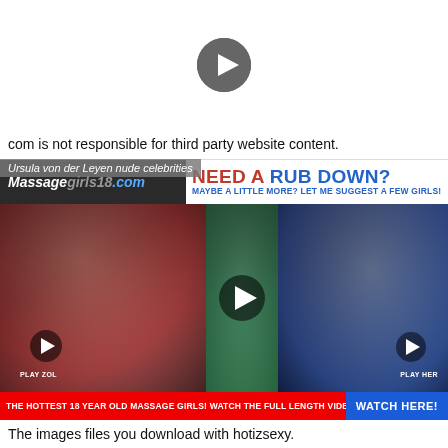[Figure (other): Video placeholder with play button on white background]
com is not responsible for third party website content.
[Figure (infographic): Advertisement banner for massagegirls18.com with header 'NEED A RUB DOWN? MAYBE A LITTLE MORE? LET ME SUGGEST A FEW GIRLS!' and three video thumbnail images with play buttons, bottom bar reading 'THE HOTTEST 18 YEAR OLD MASSAGE GIRLS! WATCH THE FULL LENGTH VIDEO!' and 'WATCH HERE!' button. Overlay text reads 'Ursula von der Leyen nude celebrities']
The images files you download with hotizsexy.